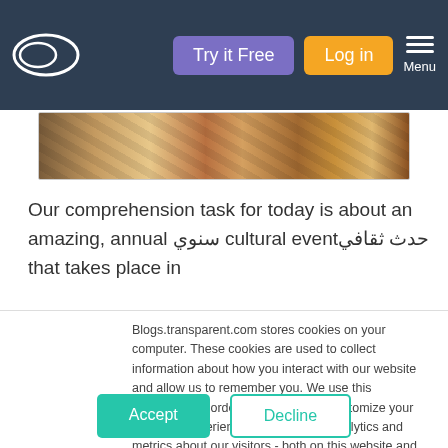Try it Free | Log in | Menu
[Figure (photo): Decorative image strip showing a textured pattern, likely a cultural textile or craft.]
Our comprehension task for today is about an amazing, annual سنوي cultural event حدث ثقافي that takes place in
Blogs.transparent.com stores cookies on your computer. These cookies are used to collect information about how you interact with our website and allow us to remember you. We use this information in order to improve and customize your browsing experience, as well as for analytics and metrics about our visitors - both on this website and other media. To find out more about the cookies we use, see our Privacy Policy.
If you decline, your information won't be tracked when you visit this website. A single cookie will be used in your browser to remember your preference not to be tracked.